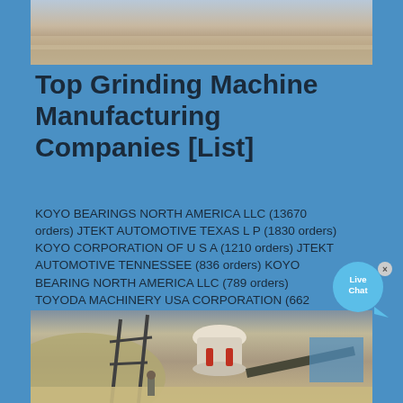[Figure (photo): Aerial or landscape photo showing arid terrain with light brownish ground, partially visible at top of page]
Top Grinding Machine Manufacturing Companies [List]
KOYO BEARINGS NORTH AMERICA LLC (13670 orders) JTEKT AUTOMOTIVE TEXAS L P (1830 orders) KOYO CORPORATION OF U S A (1210 orders) JTEKT AUTOMOTIVE TENNESSEE (836 orders) KOYO BEARING NORTH AMERICA LLC (789 orders) TOYODA MACHINERY USA CORPORATION (662 orders) JTEKT AUTOMOTIVE TN VONORE (649 ....
[Figure (photo): Photo of a cone crusher / grinding machine mounted on a metal frame structure at a mining or quarry site, with hills in the background and a conveyor belt visible]